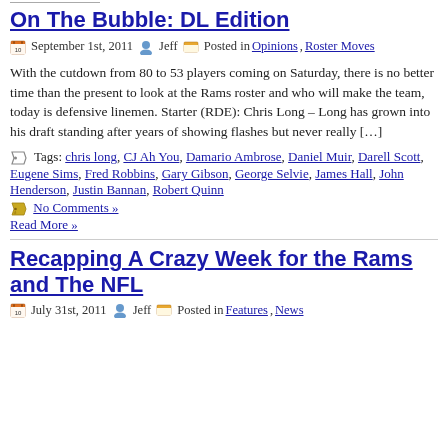On The Bubble: DL Edition
September 1st, 2011  Jeff  Posted in Opinions, Roster Moves
With the cutdown from 80 to 53 players coming on Saturday, there is no better time than the present to look at the Rams roster and who will make the team, today is defensive linemen. Starter (RDE): Chris Long – Long has grown into his draft standing after years of showing flashes but never really […]
Tags: chris long, CJ Ah You, Damario Ambrose, Daniel Muir, Darell Scott, Eugene Sims, Fred Robbins, Gary Gibson, George Selvie, James Hall, John Henderson, Justin Bannan, Robert Quinn
No Comments »
Read More »
Recapping A Crazy Week for the Rams and The NFL
July 31st, 2011  Jeff  Posted in Features, News